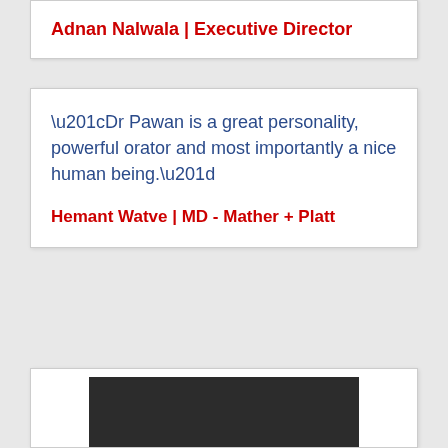Adnan Nalwala | Executive Director
“Dr Pawan is a great personality, powerful orator and most importantly a nice human being.”
Hemant Watve | MD - Mather + Platt
[Figure (photo): Dark background image partially visible at the bottom of the page]